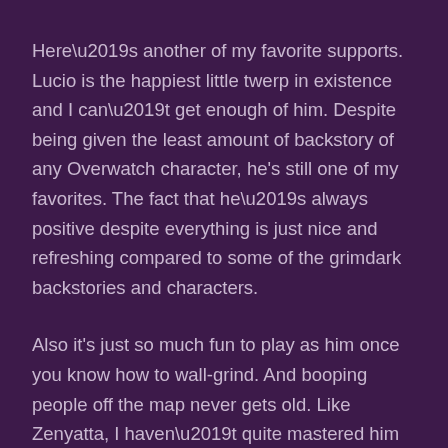Here’s another of my favorite supports. Lucio is the happiest little twerp in existence and I can’t get enough of him. Despite being given the least amount of backstory of any Overwatch character, he's still one of my favorites. The fact that he’s always positive despite everything is just nice and refreshing compared to some of the grimdark backstories and characters.
Also it's just so much fun to play as him once you know how to wall-grind. And booping people off the map never gets old. Like Zenyatta, I haven’t quite mastered him yet on the PC but I’m working on my grind skills. I’m trying not to get pigeonholed into only playing as a Support on PC